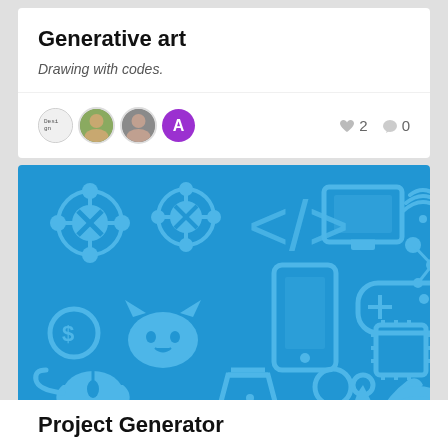Generative art
Drawing with codes.
[Figure (illustration): Blue banner image with tech/coding icons: drones, code brackets, monitor, wifi, GitHub cat, mobile phone, game controller, mouse, flask, lightbulb, tools, database, circuit chip]
Project Generator